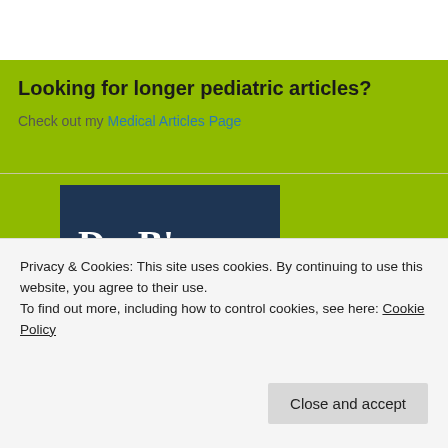Looking for longer pediatric articles?
Check out my Medical Articles Page
[Figure (illustration): Dr. B's Blog logo with cartoon character wearing a detective hat on a dark navy background]
Privacy & Cookies: This site uses cookies. By continuing to use this website, you agree to their use.
To find out more, including how to control cookies, see here: Cookie Policy